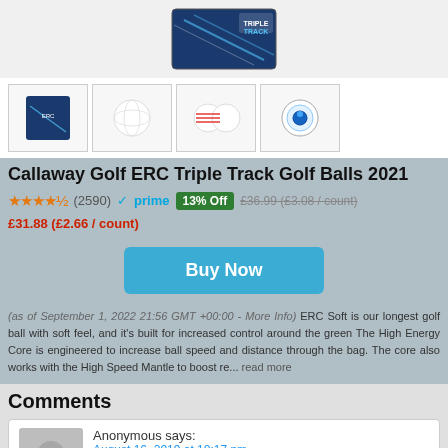[Figure (photo): Product image of Callaway Golf ERC Triple Track Golf Balls box, blue packaging]
[Figure (photo): Four product thumbnail images: box, single white ball, multiple white balls with red lines, cross-section of ball]
Callaway Golf ERC Triple Track Golf Balls 2021
4.5 stars (2590) prime 13% Off £36.99 (£3.08 / count) £31.88 (£2.66 / count)
[Figure (other): Buy Now button]
(as of September 1, 2022 21:56 GMT +00:00 - More Info) ERC Soft is our longest golf ball with soft feel, and it's built for increased control around the green The High Energy Core is engineered to increase ball speed and distance through the bag. The core also works with the High Speed Mantle to boost re... read more
Comments
Anonymous says: August 16, 2019 at 10:17 pm Great piece of kit for your golf bag This has been a great addition to my bag and a life saver before hitting shots (playing in Scotland you get a lot of dirt on clubs